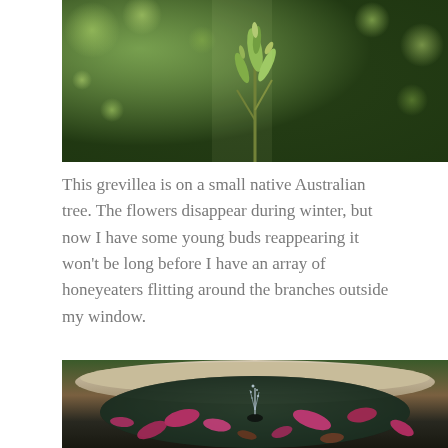[Figure (photo): Close-up photograph of a grevillea plant with young green buds against a blurred green bokeh background, sunlit.]
This grevillea is on a small native Australian tree. The flowers disappear during winter, but now I have some young buds reappearing it won't be long before I have an array of honeyeaters flitting around the branches outside my window.
[Figure (photo): Photograph of a stone bird bath or fountain with a small water jet, pink flower petals floating on the water surface, blurred garden background.]